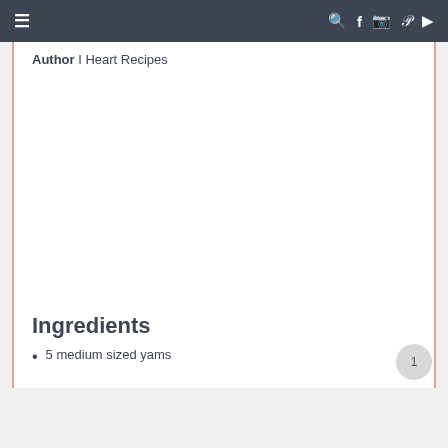≡   🔍 f 📷 𝒑 ▶
Author I Heart Recipes
Ingredients
5 medium sized yams